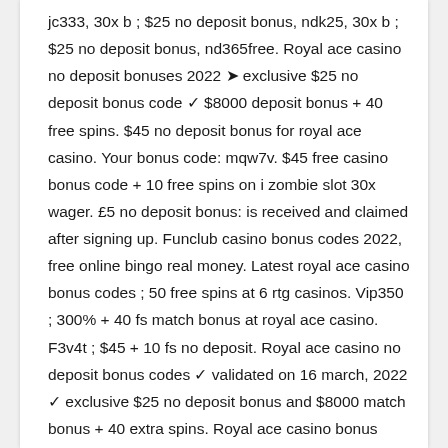jc333, 30x b ; $25 no deposit bonus, ndk25, 30x b ; $25 no deposit bonus, nd365free. Royal ace casino no deposit bonuses 2022 ➤ exclusive $25 no deposit bonus code ✓ $8000 deposit bonus + 40 free spins. $45 no deposit bonus for royal ace casino. Your bonus code: mqw7v. $45 free casino bonus code + 10 free spins on i zombie slot 30x wager. £5 no deposit bonus: is received and claimed after signing up. Funclub casino bonus codes 2022, free online bingo real money. Latest royal ace casino bonus codes ; 50 free spins at 6 rtg casinos. Vip350 ; 300% + 40 fs match bonus at royal ace casino. F3v4t ; $45 + 10 fs no deposit. Royal ace casino no deposit bonus codes ✓ validated on 16 march, 2022 ✓ exclusive $25 no deposit bonus and $8000 match bonus + 40 extra spins. Royal ace casino bonus codes ➤ exclusive $25 no deposit bonus code ✓ $ unlimited match bonus + 60 free spins ✓ play hundreds of slots for free